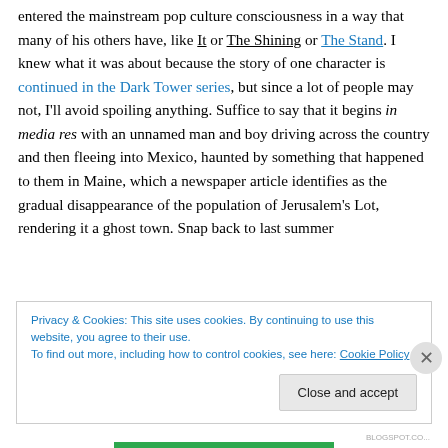entered the mainstream pop culture consciousness in a way that many of his others have, like It or The Shining or The Stand. I knew what it was about because the story of one character is continued in the Dark Tower series, but since a lot of people may not, I'll avoid spoiling anything. Suffice to say that it begins in media res with an unnamed man and boy driving across the country and then fleeing into Mexico, haunted by something that happened to them in Maine, which a newspaper article identifies as the gradual disappearance of the population of Jerusalem's Lot, rendering it a ghost town. Snap back to last summer
Privacy & Cookies: This site uses cookies. By continuing to use this website, you agree to their use.
To find out more, including how to control cookies, see here: Cookie Policy